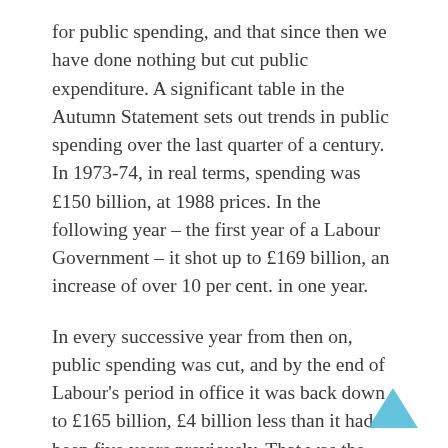for public spending, and that since then we have done nothing but cut public expenditure. A significant table in the Autumn Statement sets out trends in public spending over the last quarter of a century. In 1973-74, in real terms, spending was £150 billion, at 1988 prices. In the following year – the first year of a Labour Government – it shot up to £169 billion, an increase of over 10 per cent. in one year.
In every successive year from then on, public spending was cut, and by the end of Labour's period in office it was back down to £165 billion, £4 billion less than it had been five years previously. That was the starting point for this Administration – £165 billion – and this year public spending is £192 billion. That gives the lie to anybody who suggests that in overall terms this Government have cut